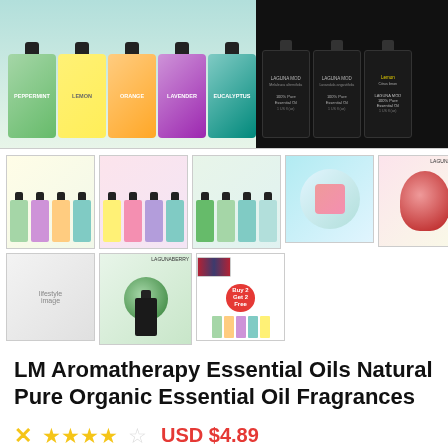[Figure (photo): Main product image showing colorful essential oil bottles in a row, with green, orange, purple, teal labeled bottles on left and dark Laguna Moon branded bottles on right]
[Figure (photo): Thumbnail grid of 8 product images showing various essential oil sets, lifestyle images, and promotional shots including Buy 2 Get 2 Free offer]
LM Aromatherapy Essential Oils Natural Pure Organic Essential Oil Fragrances
★★★★☆  USD $4.89
ebay  See it
BOUQUET ✦ Lemon ✦ Mango ✦ Man ✦